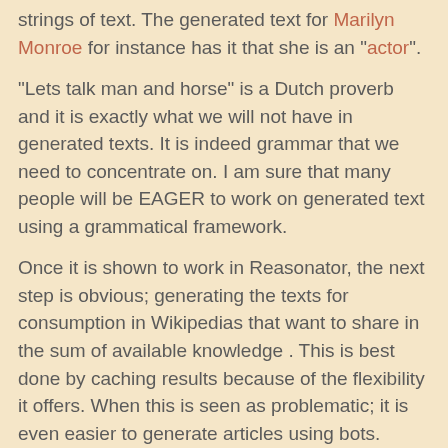strings of text. The generated text for Marilyn Monroe for instance has it that she is an "actor".
"Lets talk man and horse" is a Dutch proverb and it is exactly what we will not have in generated texts. It is indeed grammar that we need to concentrate on. I am sure that many people will be EAGER to work on generated text using a grammatical framework.
Once it is shown to work in Reasonator, the next step is obvious; generating the texts for consumption in Wikipedias that want to share in the sum of available knowledge . This is best done by caching results because of the flexibility it offers. When this is seen as problematic; it is even easier to generate articles using bots.
Niklas, what category of topics tickles your fancy?
Thanks,
        GerardM
GerardM at 8:18 am    No comments: